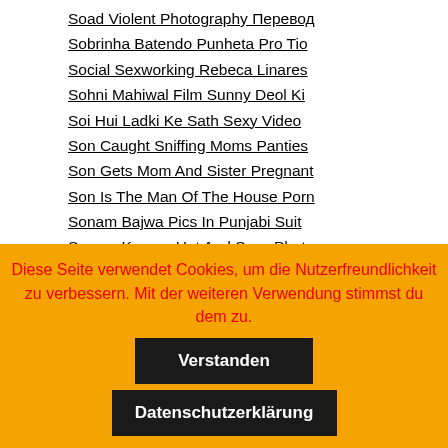Soad Violent Photography Перевод
Sobrinha Batendo Punheta Pro Tio
Social Sexworking Rebeca Linares
Sohni Mahiwal Film Sunny Deol Ki
Soi Hui Ladki Ke Sath Sexy Video
Son Caught Sniffing Moms Panties
Son Gets Mom And Sister Pregnant
Son Is The Man Of The House Porn
Sonam Bajwa Pics In Punjabi Suit
Sonam Kapoor Hot And Sexy Photos
Sonu Ke Titu Ki Sweety Bom Diggy
Sonu Nigam English Song Download
Diese Seite verwendet Cookies, um die Nutzerfreundlichkeit zu verbessern. Mit der weiteren Verwendung stimmst du dem zu.
Verstanden
Datenschutzerklärung